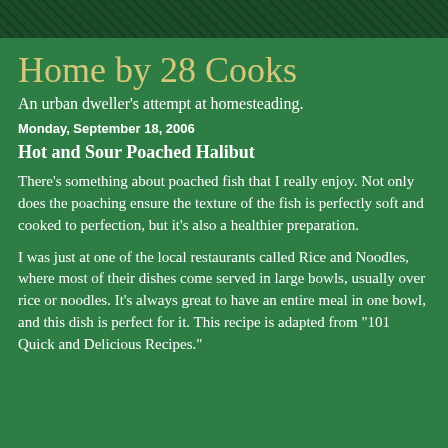Home by 28 Cooks
An urban dweller's attempt at homesteading.
Monday, September 18, 2006
Hot and Sour Poached Halibut
There's something about poached fish that I really enjoy. Not only does the poaching ensure the texture of the fish is perfectly soft and cooked to perfection, but it's also a healthier preparation.
I was just at one of the local restaurants called Rice and Noodles, where most of their dishes come served in large bowls, usually over rice or noodles. It's always great to have an entire meal in one bowl, and this dish is perfect for it. This recipe is adapted from "101 Quick and Delicious Recipes."